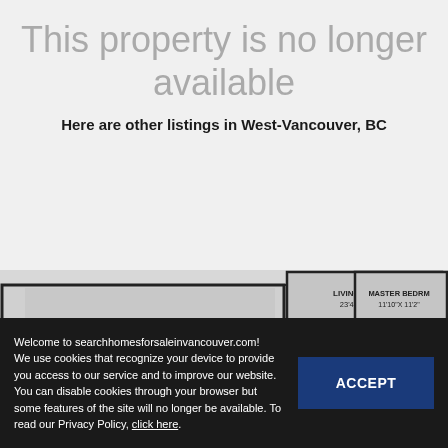This property is no longer available
Here are other listings in West-Vancouver, BC
[Figure (engineering-diagram): Partial floor plan showing LIVING ROOM 23'4"X 14'2", MASTER BEDRM 11'10"X 11'2", DINING ROOM 10'11"X 7'4", BEDROOM 10'6"X 8'8", BEDROOM 10'6"X 10'0", GARAGE 21'0"X 17'9", FOYER, KITCHEN, with stairs labeled DN and UP]
Welcome to searchhomesforsaleinvancouver.com! We use cookies that recognize your device to provide you access to our service and to improve our website. You can disable cookies through your browser but some features of the site will no longer be available. To read our Privacy Policy, click here.